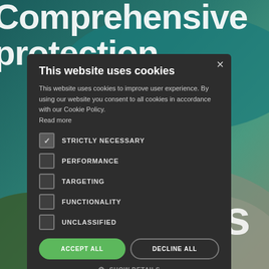[Figure (screenshot): Background image of a dam and reservoir with teal water, aerial view. Large white bold text partially visible: 'Comprehensive' at top and 'protection' and 'sis' at bottom right.]
This website uses cookies
This website uses cookies to improve user experience. By using our website you consent to all cookies in accordance with our Cookie Policy. Read more
STRICTLY NECESSARY (checked)
PERFORMANCE
TARGETING
FUNCTIONALITY
UNCLASSIFIED
ACCEPT ALL | DECLINE ALL
SHOW DETAILS